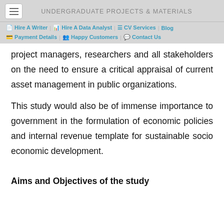UNDERGRADUATE PROJECTS & MATERIALS
project managers, researchers and all stakeholders on the need to ensure a critical appraisal of current asset management in public organizations.
This study would also be of immense importance to government in the formulation of economic policies and internal revenue template for sustainable socio economic development.
Aims and Objectives of the study